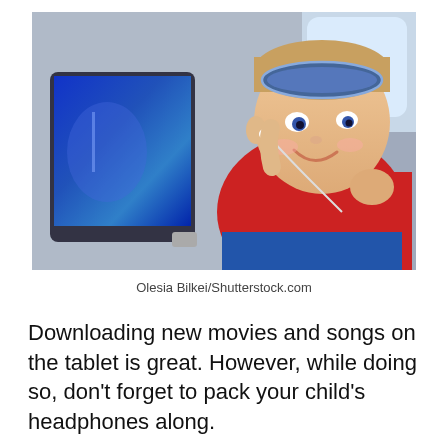[Figure (photo): A young child wearing a blue sleep mask pushed up on his forehead, sitting in an airplane seat wearing a red sweatshirt and blue pants, holding earbuds and smiling, with a tablet/screen visible to his left]
Olesia Bilkei/Shutterstock.com
Downloading new movies and songs on the tablet is great. However, while doing so, don't forget to pack your child's headphones along.